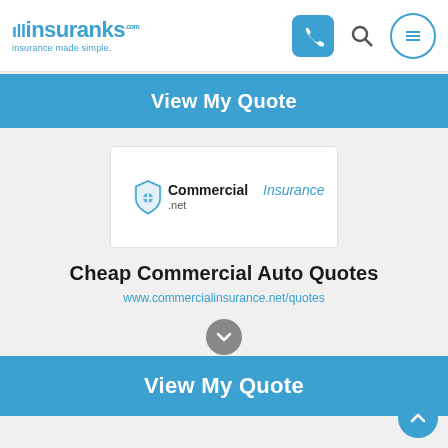insuranks insurance made simple.
View My Quote
[Figure (logo): CommercialInsurance.net logo with shield icon]
Cheap Commercial Auto Quotes
www.commercialinsurance.net/quotes
View My Quote